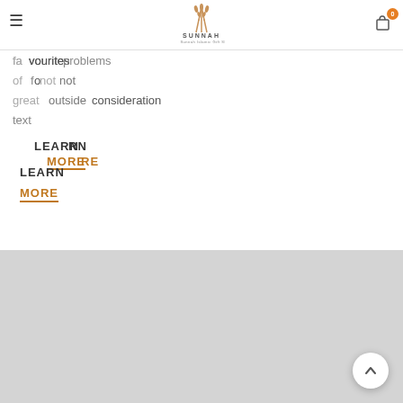Sunnah — The Sunnah Islamic Gift Shop
favourites
problems
of	not
great	side	consideration
text
LEARN
MORE
LEARN
MORE
[Figure (screenshot): Bottom gray placeholder content section with scroll-to-top button]